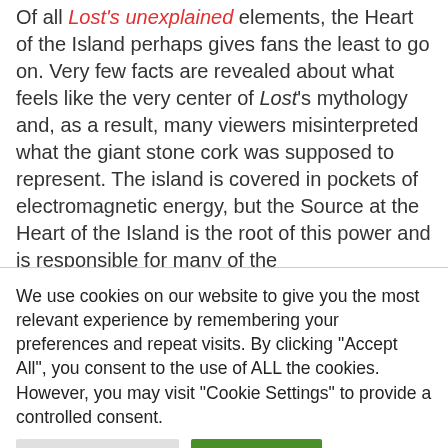Of all Lost's unexplained elements, the Heart of the Island perhaps gives fans the least to go on. Very few facts are revealed about what feels like the very center of Lost's mythology and, as a result, many viewers misinterpreted what the giant stone cork was supposed to represent. The island is covered in pockets of electromagnetic energy, but the Source at the Heart of the Island is the root of this power and is responsible for many of the
We use cookies on our website to give you the most relevant experience by remembering your preferences and repeat visits. By clicking "Accept All", you consent to the use of ALL the cookies. However, you may visit "Cookie Settings" to provide a controlled consent.